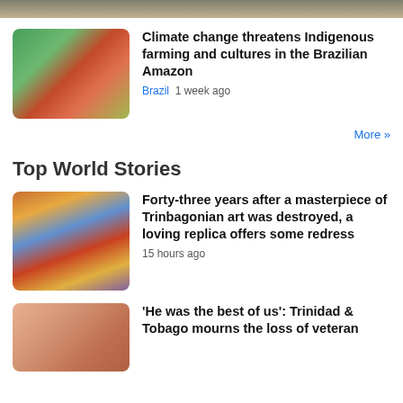[Figure (photo): Cropped top strip of a photo (partially visible at top of page)]
[Figure (photo): Photo of a man in a red shirt crouching near an old TV set and produce in the Brazilian Amazon]
Climate change threatens Indigenous farming and cultures in the Brazilian Amazon
Brazil  1 week ago
More »
Top World Stories
[Figure (photo): Colorful mural artwork showing figures with vivid orange, blue and gold tones — Trinbagonian art]
Forty-three years after a masterpiece of Trinbagonian art was destroyed, a loving replica offers some redress
15 hours ago
[Figure (photo): Close-up photo of a person, partially visible, peach/orange tones]
'He was the best of us': Trinidad & Tobago mourns the loss of veteran